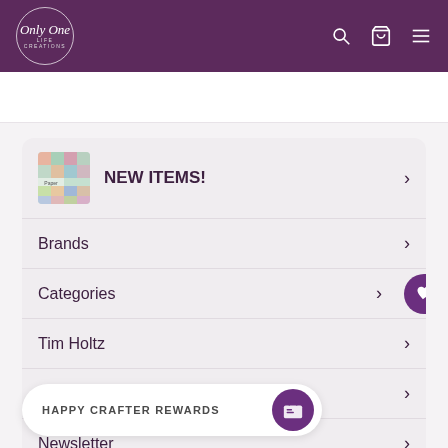Only One Life Creations
NEW ITEMS!
Brands
Categories
Tim Holtz
Deals & Promos
Newsletter
HAPPY CRAFTER REWARDS